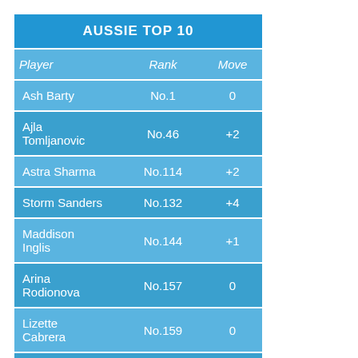| Player | Rank | Move |
| --- | --- | --- |
| Ash Barty | No.1 | 0 |
| Ajla Tomljanovic | No.46 | +2 |
| Astra Sharma | No.114 | +2 |
| Storm Sanders | No.132 | +4 |
| Maddison Inglis | No.144 | +1 |
| Arina Rodionova | No.157 | 0 |
| Lizette Cabrera | No.159 | 0 |
| Priscilla Hon | No.183 | +1 |
| Sam Stosur | No.186 | +1 |
| Ellen Perez | No.219 | -1 |